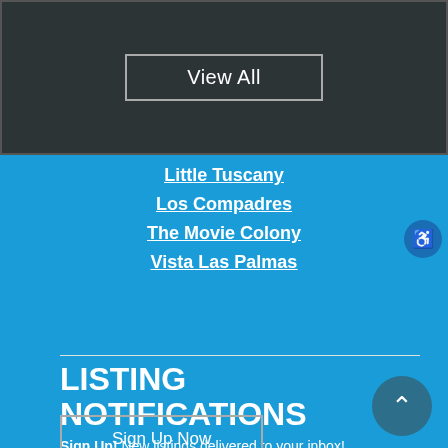View All
Little Tuscany
Los Compadres
The Movie Colony
Vista Las Palmas
LISTING NOTIFICATIONS
Sign Up!  New listings delivered to your inbox!
Sign Up Now